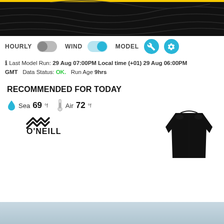[Figure (screenshot): Dark top banner with topographic contour lines and a yellow horizontal bar at the top]
HOURLY [toggle off] WIND [toggle on] MODEL [wrench icon] [settings icon]
ℹ Last Model Run: 29 Aug 07:00PM Local time (+01) 29 Aug 06:00PM GMT   Data Status: OK.   Run Age 9hrs
RECOMMENDED FOR TODAY
Sea 69 °f   Air 72°f
[Figure (logo): O'Neill brand logo in black]
[Figure (photo): Black long-sleeve wetsuit top/rash guard on white background]
[Figure (photo): Light blue/grey sky at bottom of page]